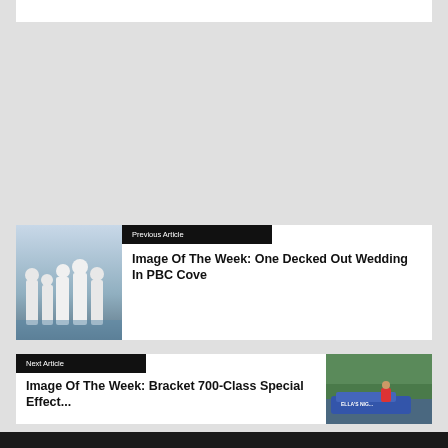[Figure (photo): White rectangle at top of page, partial view]
Previous Article
[Figure (photo): Group of people in white attire standing on a dock or boat, wedding scene in PBC Cove]
Image Of The Week: One Decked Out Wedding In PBC Cove
Next Article
Image Of The Week: Bracket 700-Class Special Effect...
[Figure (photo): Person in a boat on a river with trees in background, blue boat with 'ELLA'S NIG...' text]